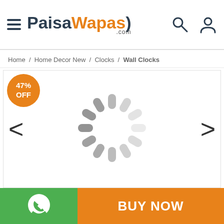[Figure (logo): PaisaWapas.com logo with hamburger menu icon on the left and search/user icons on the right]
Home / Home Decor New / Clocks / Wall Clocks
[Figure (photo): Product image area showing a loading spinner (circular dashed loader) in the center, with left and right navigation arrows and a 47% OFF discount badge in the top-left corner]
[Figure (infographic): Bottom bar with green WhatsApp icon on the left and orange BUY NOW button on the right]